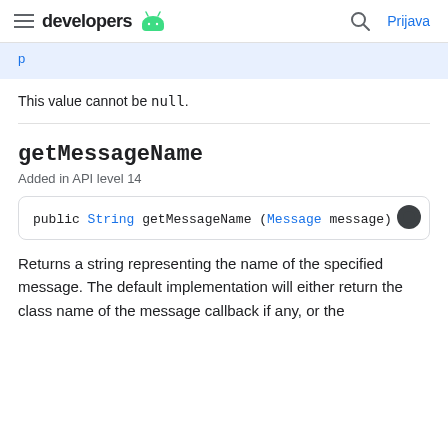developers  Prijava
This value cannot be null.
getMessageName
Added in API level 14
public String getMessageName (Message message)
Returns a string representing the name of the specified message. The default implementation will either return the class name of the message callback if any, or the